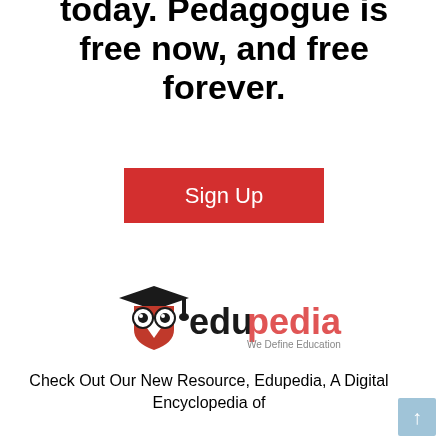today. Pedagogue is free now, and free forever.
[Figure (illustration): Red Sign Up button]
[Figure (logo): Edupedia logo - owl with graduation cap, text 'edupedia We Define Education']
Check Out Our New Resource, Edupedia, A Digital Encyclopedia of